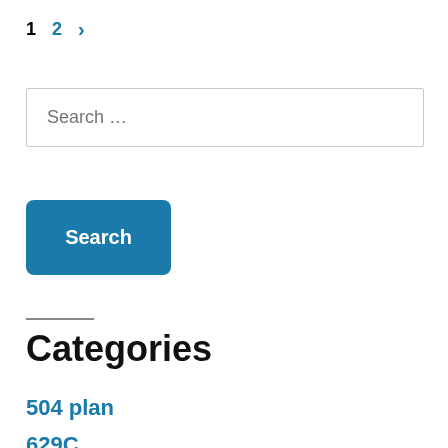1  2  >
Search …
Search
Categories
504 plan
629C